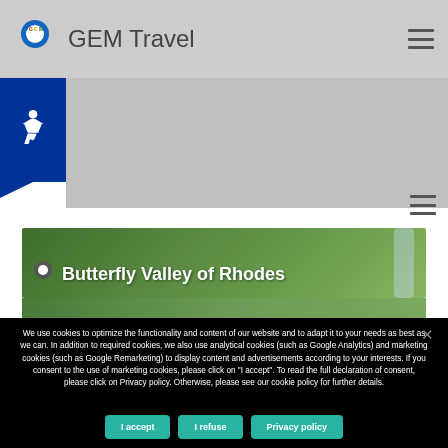GEM Travel
[Figure (screenshot): Butterfly Valley of Rhodes banner with location pin icon over green forested landscape]
[Figure (screenshot): Partial photo strip of landscape]
We use cookies to optimize the functionality and content of our website and to adapt it to your needs as best as we can. In addition to required cookies, we also use analytical cookies (such as Google Analytics) and marketing cookies (such as Google Remarketing) to display content and advertisements according to your interests. If you consent to the use of marketing cookies, please click on "I accept". To read the full declaration of consent, please click on Privacy policy. Otherwise, please see our cookie policy for further details.
I accept
I refuse
Privacy policy